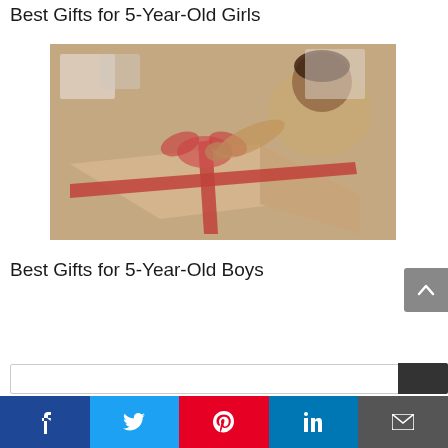Best Gifts for 5-Year-Old Girls
[Figure (photo): Child opening a large gift box wrapped with a red ribbon, viewed from above]
Best Gifts for 5-Year-Old Boys
[Figure (infographic): Social sharing bar with Facebook, Twitter, Pinterest, LinkedIn, and Email buttons]